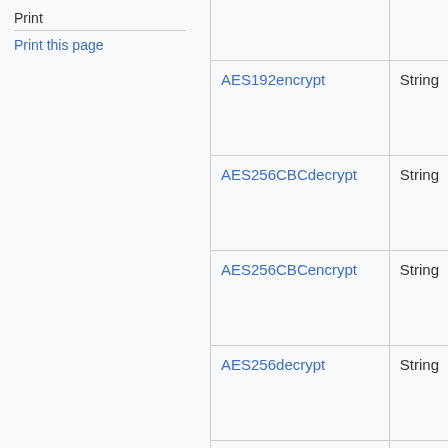Print
Print this page
| Function | Type |
| --- | --- |
| AES192encrypt | String |
| AES256CBCdecrypt | String |
| AES256CBCencrypt | String |
| AES256decrypt | String |
| AES256encrypt | String |
| After | String |